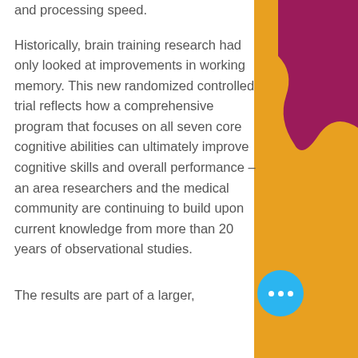and processing speed.
Historically, brain training research had only looked at improvements in working memory. This new randomized controlled trial reflects how a comprehensive program that focuses on all seven core cognitive abilities can ultimately improve cognitive skills and overall performance – an area researchers and the medical community are continuing to build upon current knowledge from more than 20 years of observational studies.
The results are part of a larger,
[Figure (illustration): Decorative background with dark magenta/pink shape in upper right corner transitioning to orange/gold color filling the right side of the page.]